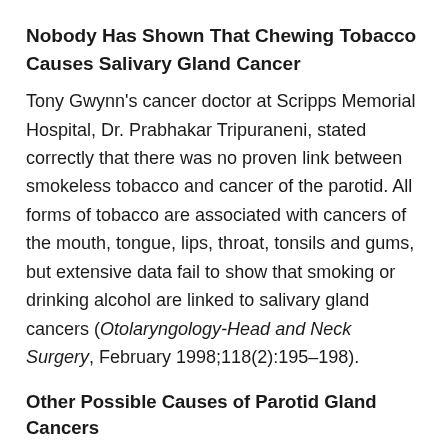Nobody Has Shown That Chewing Tobacco Causes Salivary Gland Cancer
Tony Gwynn's cancer doctor at Scripps Memorial Hospital, Dr. Prabhakar Tripuraneni, stated correctly that there was no proven link between smokeless tobacco and cancer of the parotid. All forms of tobacco are associated with cancers of the mouth, tongue, lips, throat, tonsils and gums, but extensive data fail to show that smoking or drinking alcohol are linked to salivary gland cancers (Otolaryngology-Head and Neck Surgery, February 1998;118(2):195–198).
Other Possible Causes of Parotid Gland Cancers
• Radiation: working with radiation or being treated with it for other cancers
• Genetics: Family history of salivary gland cancer